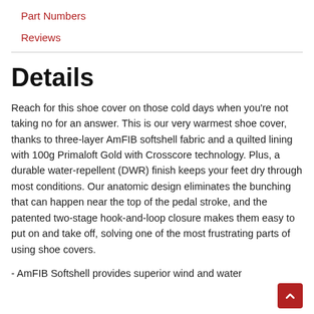Part Numbers
Reviews
Details
Reach for this shoe cover on those cold days when you're not taking no for an answer. This is our very warmest shoe cover, thanks to three-layer AmFIB softshell fabric and a quilted lining with 100g Primaloft Gold with Crosscore technology. Plus, a durable water-repellent (DWR) finish keeps your feet dry through most conditions. Our anatomic design eliminates the bunching that can happen near the top of the pedal stroke, and the patented two-stage hook-and-loop closure makes them easy to put on and take off, solving one of the most frustrating parts of using shoe covers.
- AmFIB Softshell provides superior wind and water protection